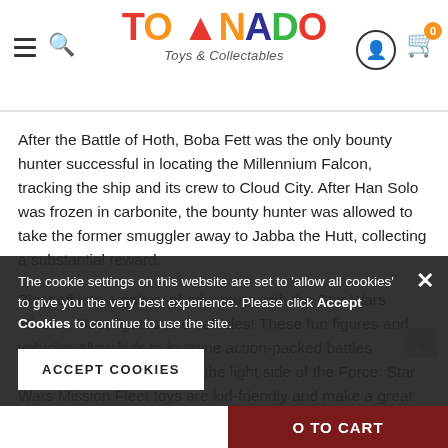Tornado Toys & Collectables — navigation header with logo, hamburger menu, search, user icon, and cart (0)
After the Battle of Hoth, Boba Fett was the only bounty hunter successful in locating the Millennium Falcon, tracking the ship and its crew to Cloud City. After Han Solo was frozen in carbonite, the bounty hunter was allowed to take the former smuggler away to Jabba the Hutt, collecting a substantial reward.
Blast off into a galaxy of adventure with the Star Wars Mission Fleet figures and vehicles! These fun figures and vehicles allow kids to imagine action-packed battles between the dark side and the light side of the Force. Star Wars Mission Fleet toys are kid-friendly and make a great introduction to the Galaxy of Star Wars for boys and girls ages 4 and up! (Additional products each sold separately. Subject to availability.) May the Force be with you!
Star Wars products are produced by Hasbro under license from Lucasfilm Ltd
Hasbro and all related terms are trademarks of Hasbro.
The cookie settings on this website are set to 'allow all cookies' to give you the very best experience. Please click Accept Cookies to continue to use the site.